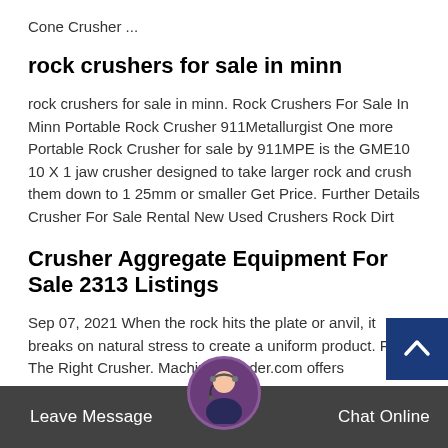Cone Crusher ...
rock crushers for sale in minn
rock crushers for sale in minn. Rock Crushers For Sale In Minn Portable Rock Crusher 911Metallurgist One more Portable Rock Crusher for sale by 911MPE is the GME10 10 X 1 jaw crusher designed to take larger rock and crush them down to 1 25mm or smaller Get Price. Further Details Crusher For Sale Rental New Used Crushers Rock Dirt
Crusher Aggregate Equipment For Sale 2313 Listings
Sep 07, 2021 When the rock hits the plate or anvil, it breaks on natural stress to create a uniform product. Find The Right Crusher. MachineryTrader.com offers
Leave Message   Chat Online